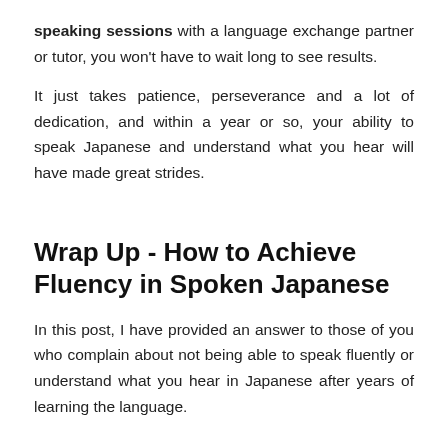speaking sessions with a language exchange partner or tutor, you won't have to wait long to see results.

It just takes patience, perseverance and a lot of dedication, and within a year or so, your ability to speak Japanese and understand what you hear will have made great strides.
Wrap Up - How to Achieve Fluency in Spoken Japanese
In this post, I have provided an answer to those of you who complain about not being able to speak fluently or understand what you hear in Japanese after years of learning the language.